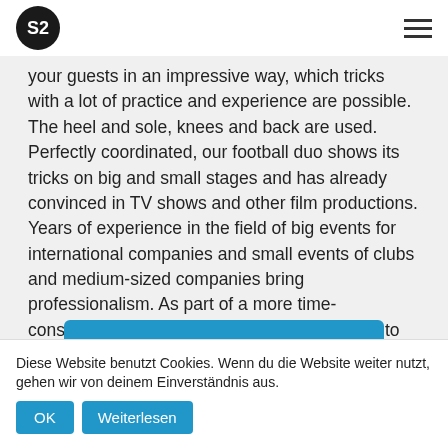S2 [logo] | hamburger menu
your guests in an impressive way, which tricks with a lot of practice and experience are possible. The heel and sole, knees and back are used. Perfectly coordinated, our football duo shows its tricks on big and small stages and has already convinced in TV shows and other film productions. Years of experience in the field of big events for international companies and small events of clubs and medium-sized companies bring professionalism. As part of a more time-consuming event, our artists can complete up to four shows a day. This is ideal for a trade fair, a branch opening or an open house in your company.
✉ Contact now!
Diese Website benutzt Cookies. Wenn du die Website weiter nutzt, gehen wir von deinem Einverständnis aus.  OK  Weiterlesen